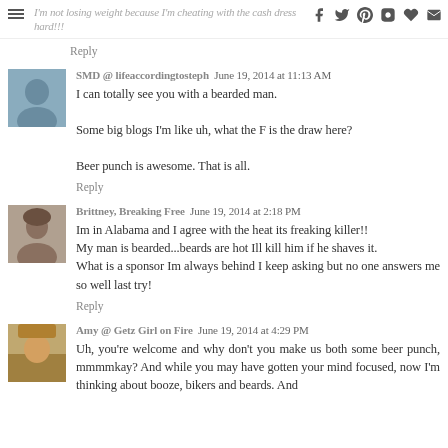I'm not losing weight because I'm cheating with the cash dress hard!!!
Reply
SMD @ lifeaccordingtosteph  June 19, 2014 at 11:13 AM
I can totally see you with a bearded man.

Some big blogs I'm like uh, what the F is the draw here?

Beer punch is awesome. That is all.
Reply
Brittney, Breaking Free  June 19, 2014 at 2:18 PM
Im in Alabama and I agree with the heat its freaking killer!!
My man is bearded...beards are hot Ill kill him if he shaves it.
What is a sponsor Im always behind I keep asking but no one answers me so well last try!
Reply
Amy @ Getz Girl on Fire  June 19, 2014 at 4:29 PM
Uh, you're welcome and why don't you make us both some beer punch, mmmmkay? And while you may have gotten your mind focused, now I'm thinking about booze, bikers and beards. And